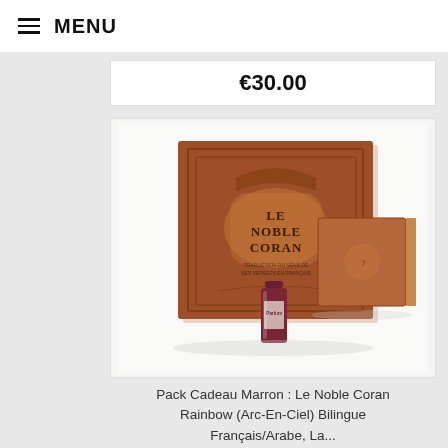≡ MENU
€30.00
[Figure (photo): Product photo showing Le Noble Coran book (brown hardcover with Islamic ornamental design), a small matching book/box, and a small perfume bottle.]
Pack Cadeau Marron : Le Noble Coran Rainbow (Arc-En-Ciel) Bilingue Français/Arabe, La...